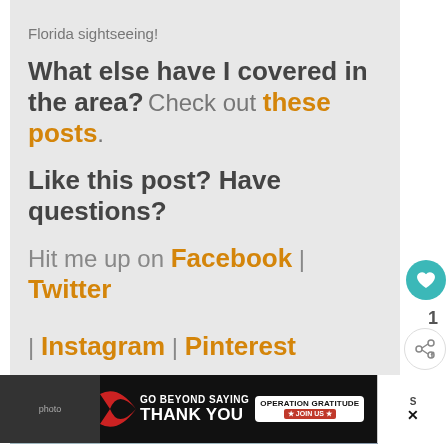Florida sightseeing!
What else have I covered in the area? Check out these posts.
Like this post? Have questions?
Hit me up on Facebook | Twitter | Instagram | Pinterest
[Figure (infographic): Promotional banner reading WANT MORE FLORIDA? with Click here for more text over a travel image]
[Figure (infographic): Advertisement banner: GO BEYOND SAYING THANK YOU - Operation Gratitude JOIN US ad]